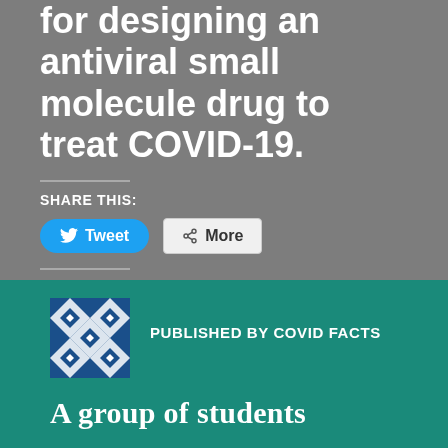for designing an antiviral small molecule drug to treat COVID-19.
SHARE THIS:
[Figure (screenshot): Tweet button (blue, rounded) and More button (grey, with share icon)]
LIKE THIS:
[Figure (screenshot): Like button with star icon]
Be the first to like this.
PUBLISHED BY COVID FACTS
A group of students